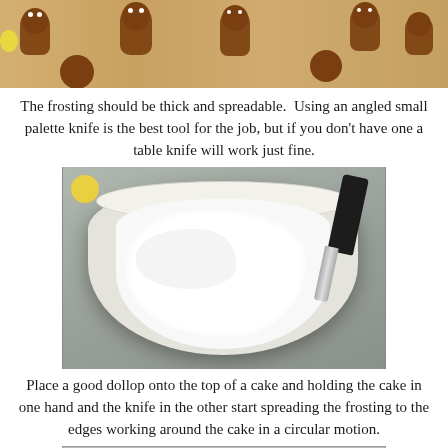[Figure (photo): Top portion of a photo showing gingerbread man cookies on a wooden surface]
The frosting should be thick and spreadable.  Using an angled small palette knife is the best tool for the job, but if you don't have one a table knife will work just fine.
[Figure (photo): A white mixing bowl containing thick white frosting with a black-handled angled palette knife resting in it, on a gray surface]
Place a good dollop onto the top of a cake and holding the cake in one hand and the knife in the other start spreading the frosting to the edges working around the cake in a circular motion.
[Figure (photo): Bottom portion of a photo showing small round cakes being frosted with white frosting on a gray surface]